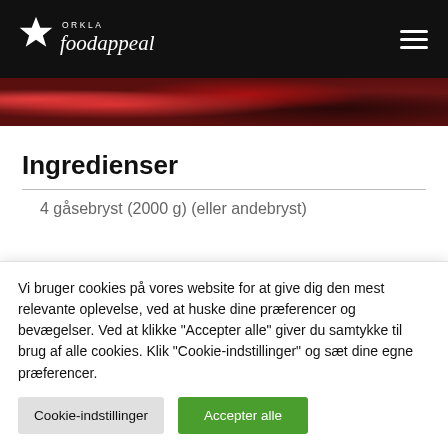Orkla foodappeal
[Figure (photo): Food photo strip showing berries and dark food items]
Ingredienser
4 gåsebryst (2000 g) (eller andebryst)
Vi bruger cookies på vores website for at give dig den mest relevante oplevelse, ved at huske dine præferencer og bevægelser. Ved at klikke "Accepter alle" giver du samtykke til brug af alle cookies. Klik "Cookie-indstillinger" og sæt dine egne præferencer.